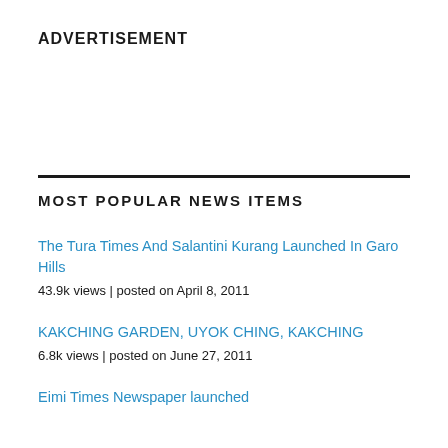ADVERTISEMENT
MOST POPULAR NEWS ITEMS
The Tura Times And Salantini Kurang Launched In Garo Hills
43.9k views | posted on April 8, 2011
KAKCHING GARDEN, UYOK CHING, KAKCHING
6.8k views | posted on June 27, 2011
Eimi Times Newspaper launched